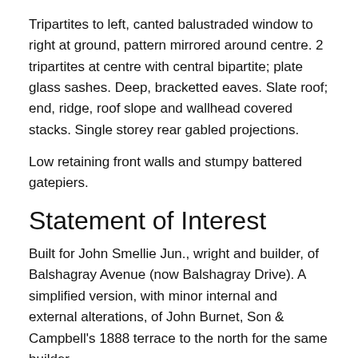Tripartites to left, canted balustraded window to right at ground, pattern mirrored around centre. 2 tripartites at centre with central bipartite; plate glass sashes. Deep, bracketted eaves. Slate roof; end, ridge, roof slope and wallhead covered stacks. Single storey rear gabled projections.
Low retaining front walls and stumpy battered gatepiers.
Statement of Interest
Built for John Smellie Jun., wright and builder, of Balshagray Avenue (now Balshagray Drive). A simplified version, with minor internal and external alterations, of John Burnet, Son & Campbell's 1888 terrace to the north for the same builder.
External Links
Historic Environment Scotland Listing
Wikidata Q56633938